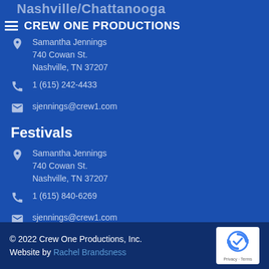Nashville/Chattanooga
CREW ONE PRODUCTIONS
Samantha Jennings
740 Cowan St.
Nashville, TN 37207
1 (615) 242-4433
sjennings@crew1.com
Festivals
Samantha Jennings
740 Cowan St.
Nashville, TN 37207
1 (615) 840-6269
sjennings@crew1.com
© 2022 Crew One Productions, Inc.
Website by Rachel Brandsness
[Figure (logo): reCAPTCHA badge with Privacy and Terms links]